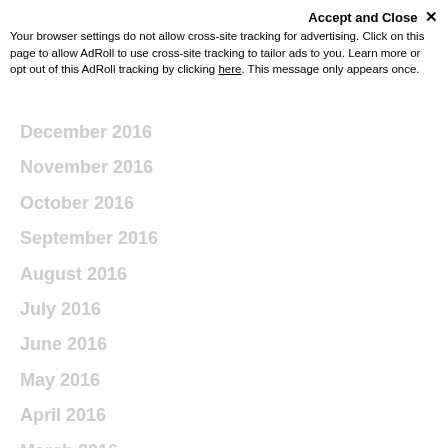Accept and Close ×
Your browser settings do not allow cross-site tracking for advertising. Click on this page to allow AdRoll to use cross-site tracking to tailor ads to you. Learn more or opt out of this AdRoll tracking by clicking here. This message only appears once.
December 2016
November 2016
October 2016
September 2016
August 2016
July 2016
June 2016
May 2016
April 2016
March 2016
February 2016